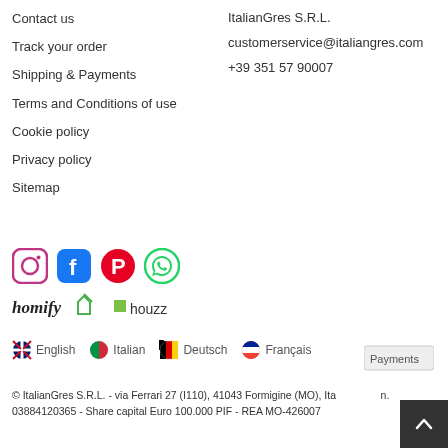Contact us
Track your order
Shipping & Payments
Terms and Conditions of use
Cookie policy
Privacy policy
Sitemap
ItalianGres S.R.L.
customerservice@italiangres.com
+39 351 57 90007
[Figure (logo): Social media icons: Instagram, Facebook, Pinterest, WhatsApp]
[Figure (logo): Homify and Houzz platform logos]
English  Italian  Deutsch  Français
[Figure (logo): Payments logo]
© ItalianGres S.R.L. - via Ferrari 27 (I110), 41043 Formigine (MO), Italy - P.IVA: 03884120365 - Share capital Euro 100.000 PIF - REA MO-426007